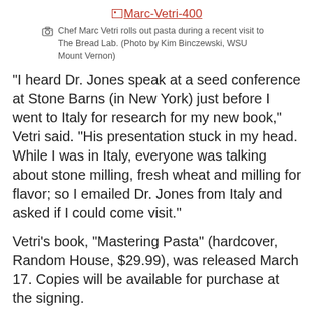[Figure (photo): Broken image placeholder link labeled Marc-Vetri-400]
Chef Marc Vetri rolls out pasta during a recent visit to The Bread Lab. (Photo by Kim Binczewski, WSU Mount Vernon)
“I heard Dr. Jones speak at a seed conference at Stone Barns (in New York) just before I went to Italy for research for my new book,” Vetri said. “His presentation stuck in my head. While I was in Italy, everyone was talking about stone milling, fresh wheat and milling for flavor; so I emailed Dr. Jones from Italy and asked if I could come visit.”
Vetri’s book, “Mastering Pasta” (hardcover, Random House, $29.99), was released March 17. Copies will be available for purchase at the signing.